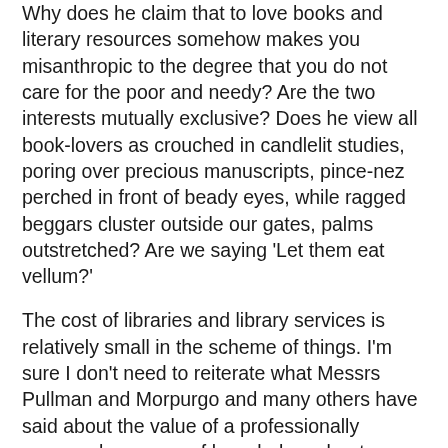Why does he claim that to love books and literary resources somehow makes you misanthropic to the degree that you do not care for the poor and needy? Are the two interests mutually exclusive? Does he view all book-lovers as crouched in candlelit studies, poring over precious manuscripts, pince-nez perched in front of beady eyes, while ragged beggars cluster outside our gates, palms outstretched? Are we saying 'Let them eat vellum?'
The cost of libraries and library services is relatively small in the scheme of things. I'm sure I don't need to reiterate what Messrs Pullman and Morpurgo and many others have said about the value of a professionally managed resource of knowledge, about access to all, about the psychological and cultural importance of books, about our nation's need to take pride in our heritage and its duty to help its people to fulfil their potential. Fulfilling potential and meeting needs is not just about disabled access or council social services (which, by the way, are also taking massive hits, including closures of youth centres in Oxfordshire and the Oxford Carers' Centre), but about hearts and minds, about enriching knowledge, awareness, a connection with the past and with each other.